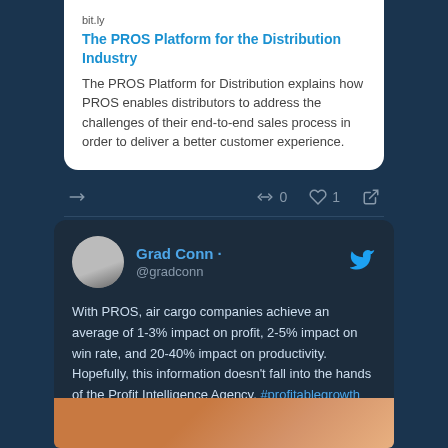bit.ly
The PROS Platform for the Distribution Industry
The PROS Platform for Distribution explains how PROS enables distributors to address the challenges of their end-to-end sales process in order to deliver a better customer experience.
Grad Conn · @gradconn
With PROS, air cargo companies achieve an average of 1-3% impact on profit, 2-5% impact on win rate, and 20-40% impact on productivity. Hopefully, this information doesn't fall into the hands of the Profit Intelligence Agency. #profitablegrowth https://t.co/CTp7TbtPOy
[Figure (photo): Bottom partial image preview showing a warm orange-toned photo, likely a desk or workspace scene]